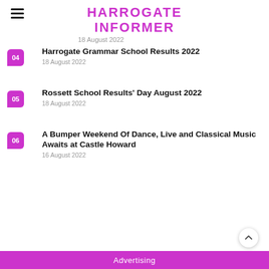HARROGATE INFORMER
18 August 2022
Harrogate Grammar School Results 2022
18 August 2022
Rossett School Results' Day August 2022
18 August 2022
A Bumper Weekend Of Dance, Live and Classical Music Awaits at Castle Howard
16 August 2022
Advertising